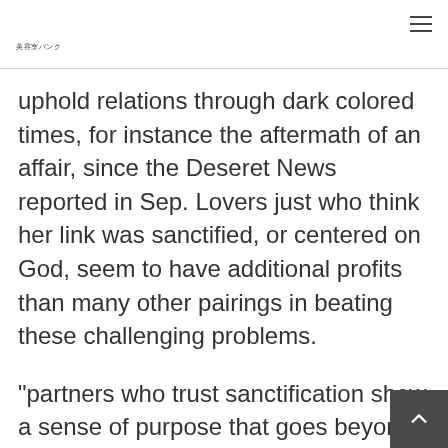美容室バンク
uphold relations through dark colored times, for instance the aftermath of an affair, since the Deseret News reported in Sep. Lovers just who think her link was sanctified, or centered on God, seem to have additional profits than many other pairings in beating these challenging problems.
“partners who trust sanctification show a sense of purpose that goes beyond provided hobbies, self-interest (and)